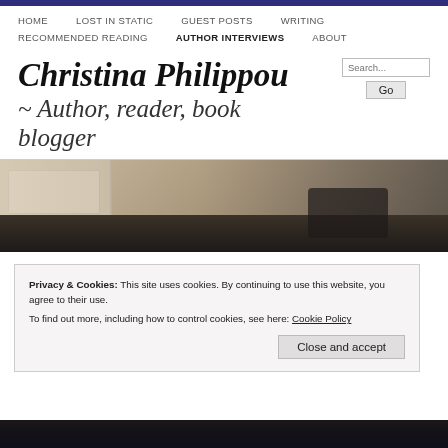HOME  LOST IN STATIC  GUEST POSTS  WRITING  RECOMMENDED READING  AUTHOR INTERVIEWS  ABOUT
Christina Philippou
~ Author, reader, book blogger
[Figure (photo): Photo of books/desk scene used as website header image]
Privacy & Cookies: This site uses cookies. By continuing to use this website, you agree to their use.
To find out more, including how to control cookies, see here: Cookie Policy
Close and accept